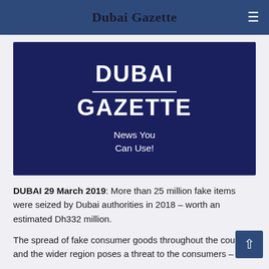Dubai Gazette
[Figure (logo): Dubai Gazette logo on dark navy background with text 'DUBAI GAZETTE News You Can Use!']
DUBAI 29 March 2019: More than 25 million fake items were seized by Dubai authorities in 2018 – worth an estimated Dh332 million.
The spread of fake consumer goods throughout the country and the wider region poses a threat to the consumers – even